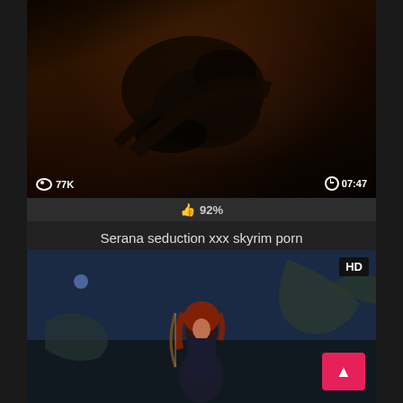[Figure (screenshot): Dark 3D animated scene thumbnail with two figures on a stone floor, viewed from above]
77K views | 07:47
👍 92%
Serana seduction xxx skyrim porn
[Figure (screenshot): Fantasy artwork showing a red-haired woman in dark armor holding a bow, with a large dragon in the background against a blue sky. HD badge in top right corner.]